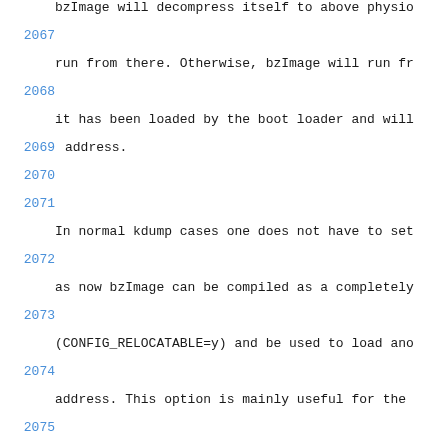bzImage will decompress itself to above physio...
2067
run from there. Otherwise, bzImage will run fr...
2068
it has been loaded by the boot loader and will...
2069   address.
2070
2071
In normal kdump cases one does not have to set...
2072
as now bzImage can be compiled as a completely...
2073
(CONFIG_RELOCATABLE=y) and be used to load ano...
2074
address. This option is mainly useful for the...
2075
to use a bzImage for capturing the crash dump...
2076
vmlinux instead. vmlinux is not relocatable he...
2077
to be specifically compiled to run from a spec...
2078
(normally a reserved region) and this option d...
2079
2080